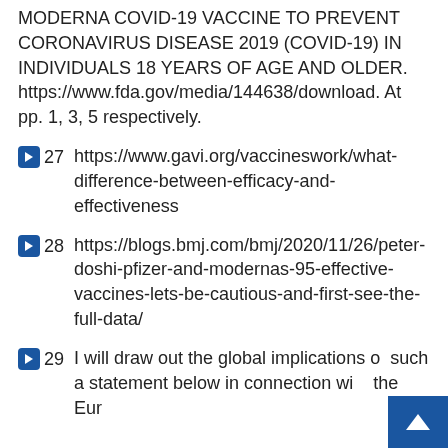MODERNA COVID-19 VACCINE TO PREVENT CORONAVIRUS DISEASE 2019 (COVID-19) IN INDIVIDUALS 18 YEARS OF AGE AND OLDER. https://www.fda.gov/media/144638/download. At pp. 1, 3, 5 respectively.
27  https://www.gavi.org/vaccineswork/what-difference-between-efficacy-and-effectiveness
28  https://blogs.bmj.com/bmj/2020/11/26/peter-doshi-pfizer-and-modernas-95-effective-vaccines-lets-be-cautious-and-first-see-the-full-data/
29  I will draw out the global implications of such a statement below in connection with the Eur...